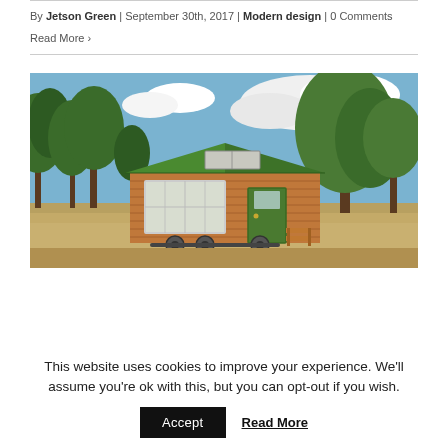By Jetson Green | September 30th, 2017 | Modern design | 0 Comments
Read More >
[Figure (photo): A small wooden tiny house on wheels with a green metal roof, large windows, and a green front door, parked in a dry grass field surrounded by trees under a partly cloudy sky.]
This website uses cookies to improve your experience. We'll assume you're ok with this, but you can opt-out if you wish.
Accept   Read More